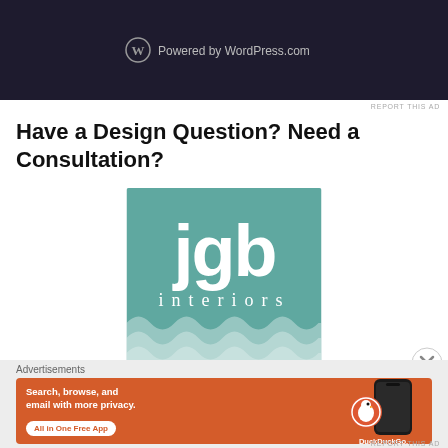[Figure (screenshot): Dark-background WordPress.com 'Powered by WordPress.com' advertisement banner at top of page]
REPORT THIS AD
Have a Design Question? Need a Consultation?
[Figure (logo): JGb interiors logo — teal/blue-green square with large stylized JGb lettering and wave pattern at bottom, text 'interiors' below the letters]
[Figure (screenshot): Close/dismiss button (circled X) at right side of page]
Advertisements
[Figure (screenshot): DuckDuckGo advertisement banner: orange background, 'Search, browse, and email with more privacy. All in One Free App' with DuckDuckGo logo and phone mockup]
REPORT THIS AD